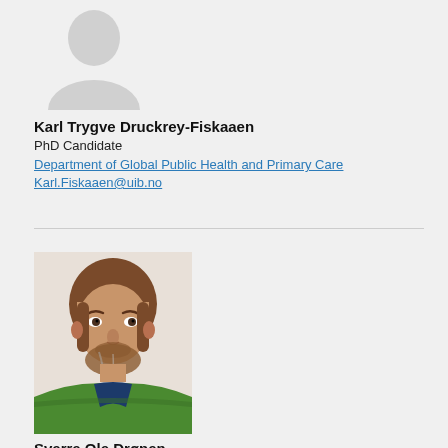[Figure (photo): Placeholder silhouette avatar for Karl Trygve Druckrey-Fiskaaen (top portion visible, cropped at top)]
Karl Trygve Druckrey-Fiskaaen
PhD Candidate
Department of Global Public Health and Primary Care
Karl.Fiskaaen@uib.no
[Figure (photo): Portrait photo of Sverre Ole Drønen, a middle-aged man with reddish-brown hair and beard, wearing a green polo shirt]
Sverre Ole Drønen